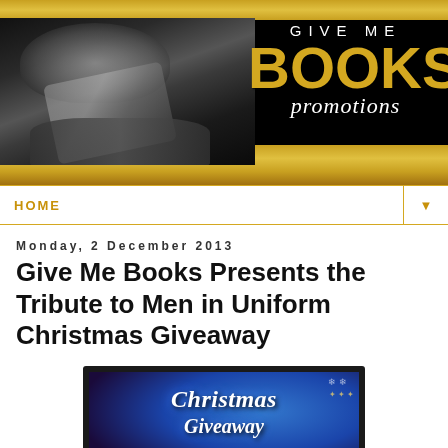[Figure (logo): Give Me Books Promotions banner with gold glitter background, black and white photo of person reading on left, and 'GIVE ME BOOKS promotions' text in gold and white on right]
HOME
Monday, 2 December 2013
Give Me Books Presents the Tribute to Men in Uniform Christmas Giveaway
[Figure (illustration): Christmas Giveaway promotional image with dark blue/purple background, snowflakes, and decorative text reading 'Christmas Giveaway']